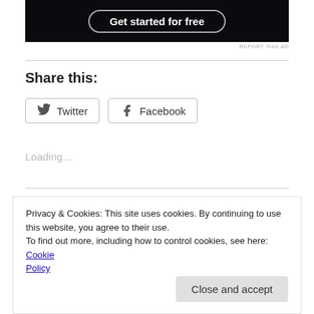[Figure (other): Dark advertisement banner with 'Get started for free' button and rounded border]
REPORT THIS AD
Share this:
Twitter  Facebook
Loading...
Privacy & Cookies: This site uses cookies. By continuing to use this website, you agree to their use.
To find out more, including how to control cookies, see here: Cookie Policy
Close and accept
SPOTLIGHT NIGHT 24: NOCEIRA VS. DAVIS Recap & Results